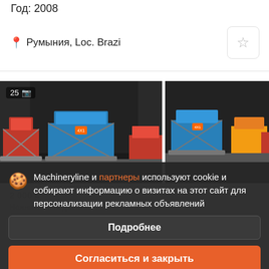Год: 2008
Румыния, Loc. Brazi
[Figure (photo): Two scissor lift platforms (blue and red) parked in front of a dark building facade. Photo strip showing multiple equipment images.]
ITECO 12...
2 000 €
Ножничный подъёмник
Год: 2000
Machineryline и партнеры используют cookie и собирают информацию о визитах на этот сайт для персонализации рекламных объявлений
Подробнее
Согласиться и закрыть